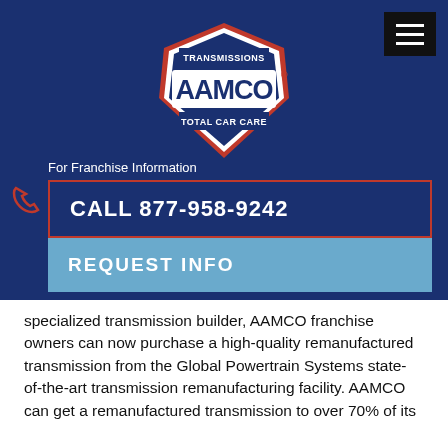[Figure (logo): AAMCO Transmissions Total Car Care logo — red and blue shield shape with white text]
For Franchise Information
CALL 877-958-9242
REQUEST INFO
specialized transmission builder, AAMCO franchise owners can now purchase a high-quality remanufactured transmission from the Global Powertrain Systems state-of-the-art transmission remanufacturing facility. AAMCO can get a remanufactured transmission to over 70% of its